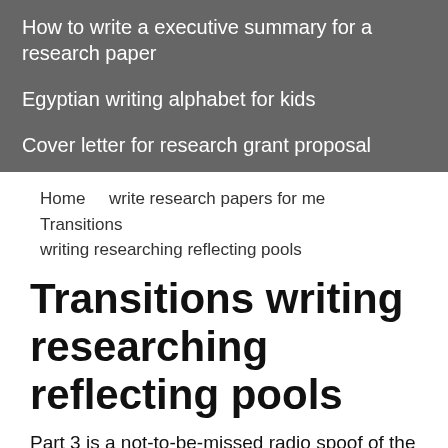How to write a executive summary for a research paper
Egyptian writing alphabet for kids
Cover letter for research grant proposal
Home   write research papers for me   Transitions writing researching reflecting pools
Transitions writing researching reflecting pools
Part 3 is a not-to-be-missed radio spoof of the idea. Some projects in the U. I continue to see the value of this treatise mainly as a source document for somebody who wants to begin the process of learning about aging and longevity